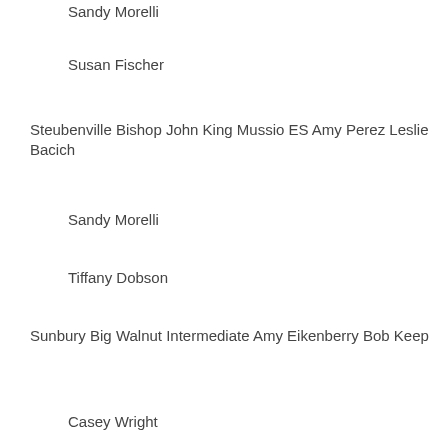Sandy Morelli
Susan Fischer
Steubenville Bishop John King Mussio ES Amy Perez Leslie Bacich
Sandy Morelli
Tiffany Dobson
Sunbury Big Walnut Intermediate Amy Eikenberry Bob Keep
Casey Wright